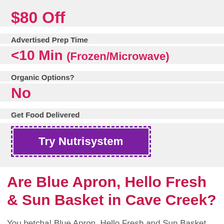$80 Off
Advertised Prep Time
<10 Min (Frozen/Microwave)
Organic Options?
No
Get Food Delivered
[Figure (other): Purple dashed-border button labeled 'Try Nutrisystem']
Are Blue Apron, Hello Fresh & Sun Basket in Cave Creek?
You betcha! Blue Apron, Hello Fresh and Sun Basket are all available in Cave Creek. There are so many others to choose from here as well. Most of them deliver to the contiguous US. See above for the meal